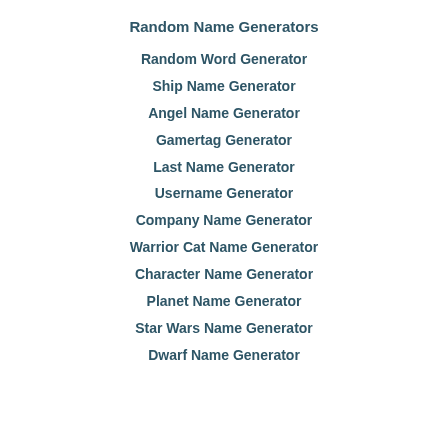Random Name Generators
Random Word Generator
Ship Name Generator
Angel Name Generator
Gamertag Generator
Last Name Generator
Username Generator
Company Name Generator
Warrior Cat Name Generator
Character Name Generator
Planet Name Generator
Star Wars Name Generator
Dwarf Name Generator